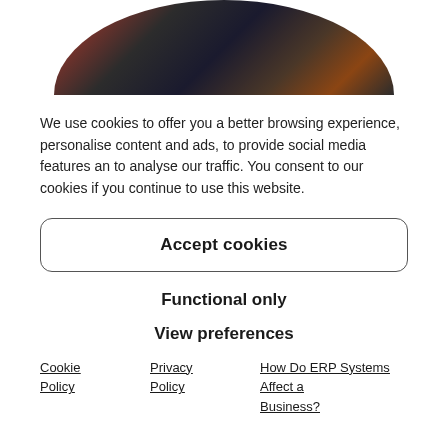[Figure (photo): Circular cropped photo showing a scene with people and structural elements, showing only the top arc half of the circle]
We use cookies to offer you a better browsing experience, personalise content and ads, to provide social media features an to analyse our traffic. You consent to our cookies if you continue to use this website.
Accept cookies
Functional only
View preferences
Cookie Policy
Privacy Policy
How Do ERP Systems Affect a Business?